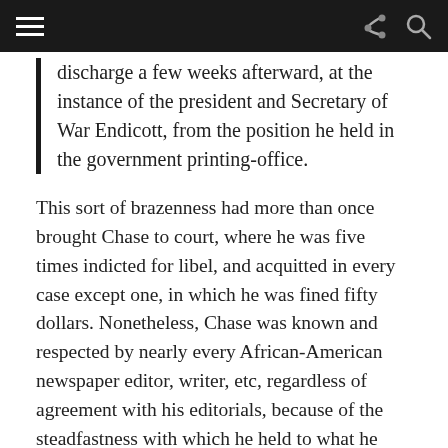[navigation bar with hamburger menu, share icon, search icon]
discharge a few weeks afterward, at the instance of the president and Secretary of War Endicott, from the position he held in the government printing-office.
This sort of brazenness had more than once brought Chase to court, where he was five times indicted for libel, and acquitted in every case except one, in which he was fined fifty dollars. Nonetheless, Chase was known and respected by nearly every African-American newspaper editor, writer, etc, regardless of agreement with his editorials, because of the steadfastness with which he held to what he thought was right.
Read issues of The Washington Bee, courtesy of the Library of Congress.